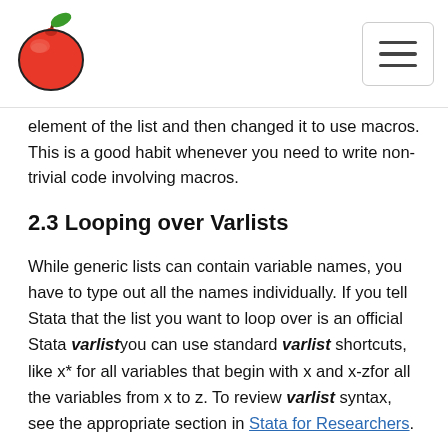[Navigation header with apple logo and hamburger menu]
element of the list and then changed it to use macros. This is a good habit whenever you need to write non-trivial code involving macros.
2.3 Looping over Varlists
While generic lists can contain variable names, you have to type out all the names individually. If you tell Stata that the list you want to loop over is an official Stata varlist you can use standard varlist shortcuts, like x* for all variables that begin with x and x-zfor all the variables from x to z. To review varlist syntax, see the appropriate section in Stata for Researchers.
The syntax for a foreach loop over a varlist is as follows: